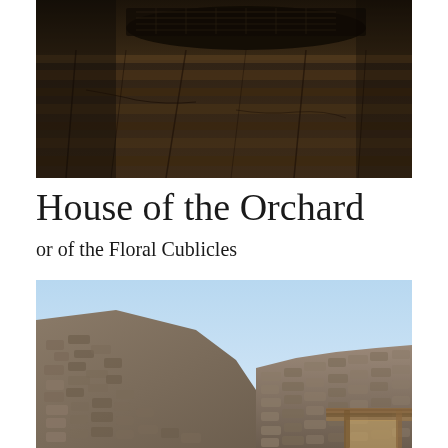[Figure (photo): Interior dark photo showing wooden floor planks and what appears to be a large vessel or barrel in a dim, stone or ancient room setting.]
House of the Orchard
or of the Floral Cublicles
[Figure (photo): Exterior daylight photo of ancient stone ruins with rough-cut stone walls under a bright blue sky, with a wooden-beamed doorway or structure visible in the lower right corner.]